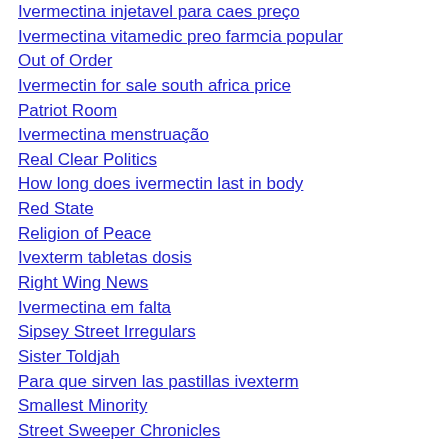Ivermectina injetavel para caes preço
Ivermectina vitamedic preo farmcia popular
Out of Order
Ivermectin for sale south africa price
Patriot Room
Ivermectina menstruação
Real Clear Politics
How long does ivermectin last in body
Red State
Religion of Peace
Ivexterm tabletas dosis
Right Wing News
Ivermectina em falta
Sipsey Street Irregulars
Sister Toldjah
Para que sirven las pastillas ivexterm
Smallest Minority
Street Sweeper Chronicles
Sultan Knish
Ivermectina dose caes
Sweet Tea & Livermush
Texas Darlin
The Daily Bayonet
Thomas More Law Center
Torch Light
Town Hall